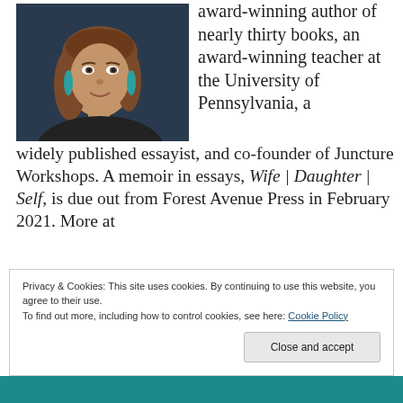[Figure (photo): Portrait photo of a woman with brown hair, wearing teal earrings and a dark top, against a dark blue background.]
award-winning author of nearly thirty books, an award-winning teacher at the University of Pennsylvania, a widely published essayist, and co-founder of Juncture Workshops. A memoir in essays, Wife | Daughter | Self, is due out from Forest Avenue Press in February 2021. More at
Privacy & Cookies: This site uses cookies. By continuing to use this website, you agree to their use.
To find out more, including how to control cookies, see here: Cookie Policy